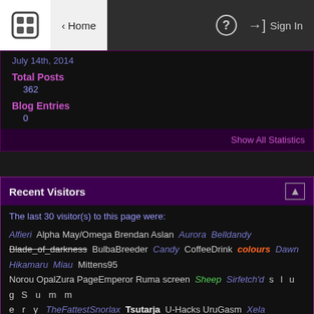Home | ? | Sign In
July 14th, 2014
Total Posts
362
Blog Entries
0
Show All Statistics
Recent Visitors
The last 30 visitor(s) to this page were:
Alfieri Alpha May/Omega Brendan Aslan Aurora Belldandy Blade_of_darkness BulbaBreeder Candy CoffeeDrink colours Dawn Hikamaru Miau Mittens95 Norou OpalZura PageEmperor Ruma screen Sheep Sirfetch'd s l u g S u m m e r y TheFattestSnorlax Tsutarja U-Hacks UruGasm Xela Zakariya Zal
This page has had 11,680 visits
[Figure (logo): The PokéCommunity logo with icon and text]
Working on a better slogan. 19 years and counting!
DISPLAY OPTIONS